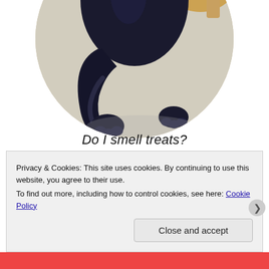[Figure (photo): A black fluffy cat walking, viewed from behind, showing tail and paws, in a circular cropped frame. Background shows a light floor, a scratching post, and colorful items.]
Do I smell treats?
Lucky for me, she didn't like what was in my dish
Privacy & Cookies: This site uses cookies. By continuing to use this website, you agree to their use.
To find out more, including how to control cookies, see here: Cookie Policy
Close and accept